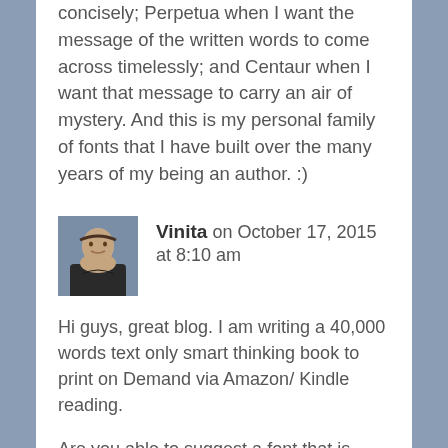concisely; Perpetua when I want the message of the written words to come across timelessly; and Centaur when I want that message to carry an air of mystery. And this is my personal family of fonts that I have built over the many years of my being an author. :)
Vinita on October 17, 2015 at 8:10 am
Hi guys, great blog. I am writing a 40,000 words text only smart thinking book to print on Demand via Amazon/ Kindle reading.
Are you able to suggest a font that is modern and very readable enhancing simplicity over style please?
Also should I use different fonts for headings/ subheadings?